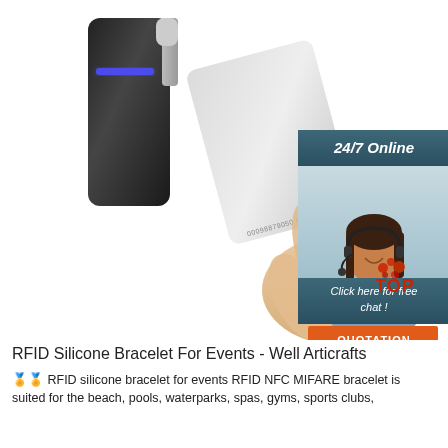[Figure (photo): RFID card reader device (black) with a white access card being held in front of it. Overlay on top-right shows a customer service representative with '24/7 Online' header, 'Click here for free chat!' text, and an orange QUOTATION button. A red TOP logo appears in bottom-right of the image.]
RFID Silicone Bracelet For Events - Well Articrafts
🏅🏅 RFID silicone bracelet for events RFID NFC MIFARE bracelet is suited for the beach, pools, waterparks, spas, gyms, sports clubs,